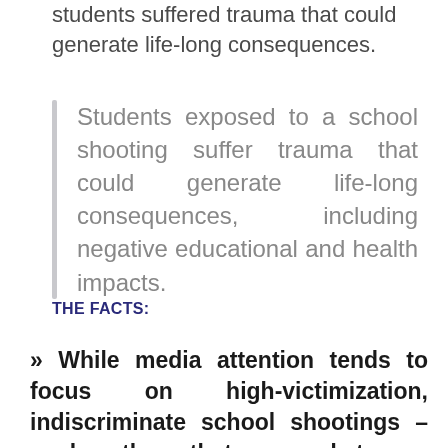students suffered trauma that could generate life-long consequences.
Students exposed to a school shooting suffer trauma that could generate life-long consequences, including negative educational and health impacts.
THE FACTS:
» While media attention tends to focus on high-victimization, indiscriminate school shootings – such as those that occurred at